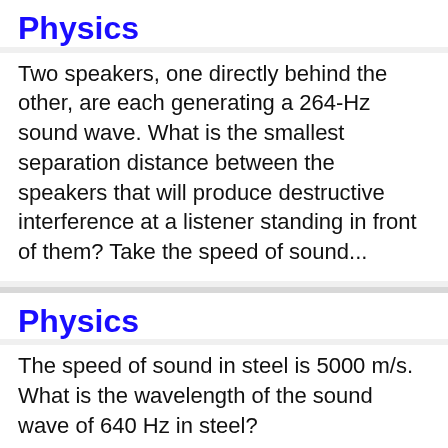Physics
Two speakers, one directly behind the other, are each generating a 264-Hz sound wave. What is the smallest separation distance between the speakers that will produce destructive interference at a listener standing in front of them? Take the speed of sound...
Physics
The speed of sound in steel is 5000 m/s. What is the wavelength of the sound wave of 640 Hz in steel?
Physics